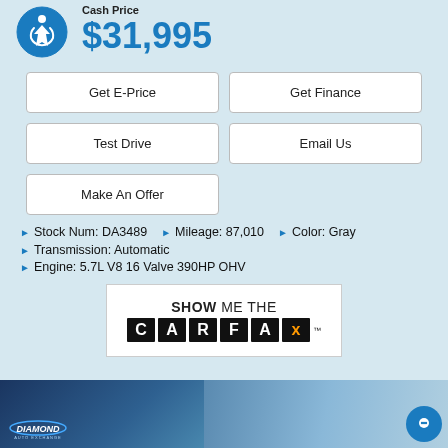Cash Price
$31,995
Get E-Price
Get Finance
Test Drive
Email Us
Make An Offer
Stock Num: DA3489   Mileage: 87,010   Color: Gray
Transmission: Automatic
Engine: 5.7L V8 16 Valve 390HP OHV
[Figure (logo): Show Me The Carfax logo — white box with bold text SHOW ME THE and letter blocks C A R F A x]
[Figure (photo): Diamond Auto Exchange dealership photo strip at bottom of page]